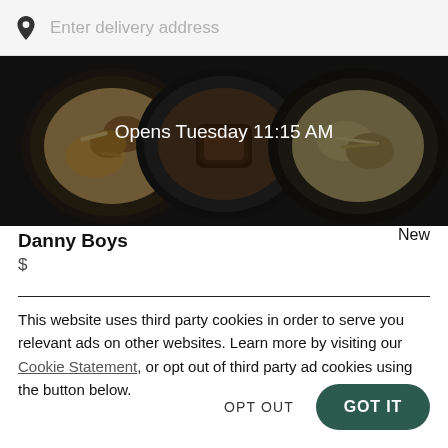Enter delivery address
[Figure (photo): Hero banner showing three plates of food with a dark overlay. Text overlay reads 'Opens Tuesday 11:15 AM']
Danny Boys
New
$
This website uses third party cookies in order to serve you relevant ads on other websites. Learn more by visiting our Cookie Statement, or opt out of third party ad cookies using the button below.
OPT OUT
GOT IT